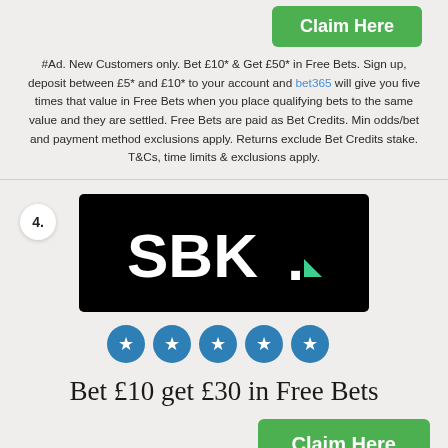[Figure (other): Green 'Claim Here' button at top (partially visible)]
#Ad. New Customers only. Bet £10* & Get £50* in Free Bets. Sign up, deposit between £5* and £10* to your account and bet365 will give you five times that value in Free Bets when you place qualifying bets to the same value and they are settled. Free Bets are paid as Bet Credits. Min odds/bet and payment method exclusions apply. Returns exclude Bet Credits stake. T&Cs, time limits & exclusions apply.
4.
[Figure (logo): SBK logo — white text 'SBK.' with green triangle accent on black background]
[Figure (other): Five blue star rating circles]
Bet £10 get £30 in Free Bets
[Figure (other): Green 'Claim Here' button]